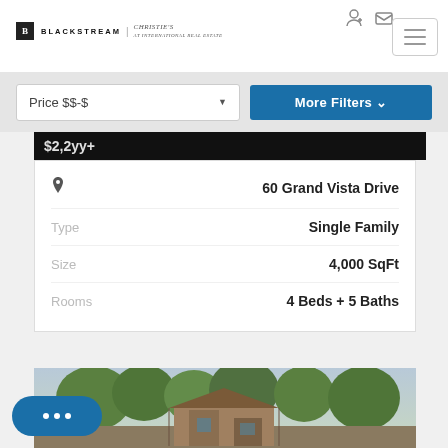[Figure (logo): Blackstream | Christie's real estate logo with black box B icon]
Price $$-$
More Filters
$2,2yy+
|  |  |
| --- | --- |
| 📍 | 60 Grand Vista Drive |
| Type | Single Family |
| Size | 4,000 SqFt |
| Rooms | 4 Beds + 5 Baths |
[Figure (photo): Exterior photo of a mid-century modern style house with trees in background]